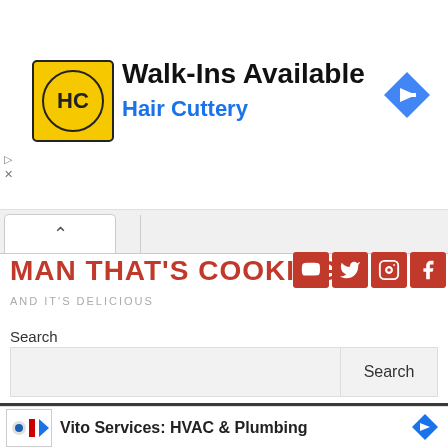[Figure (screenshot): Advertisement banner for Hair Cuttery showing yellow logo with HC initials, text 'Walk-Ins Available' and 'Hair Cuttery', blue diamond arrow icon on right]
[Figure (screenshot): Browser tab strip showing a single white tab with caret/chevron icon]
MAN THAT'S COOKING
[Figure (screenshot): Social media icons: YouTube, Twitter, Instagram, Facebook — brown/red square buttons]
AND IT'S DELICIOUS
Search
[Figure (screenshot): Search input box with Search button]
[Figure (screenshot): Dark navigation bar with hamburger menu icon]
[Figure (screenshot): Second advertisement at bottom: Vito Services: HVAC & Plumbing with logo and blue arrow icon]